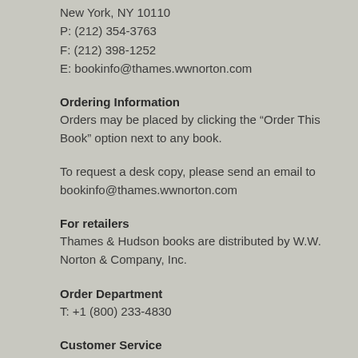New York, NY 10110
P: (212) 354-3763
F: (212) 398-1252
E: bookinfo@thames.wwnorton.com
Ordering Information
Orders may be placed by clicking the “Order This Book” option next to any book.
To request a desk copy, please send an email to bookinfo@thames.wwnorton.com
For retailers
Thames & Hudson books are distributed by W.W. Norton & Company, Inc.
Order Department
T: +1 (800) 233-4830
Customer Service
P: +1 (800) 233-4830
In Canada